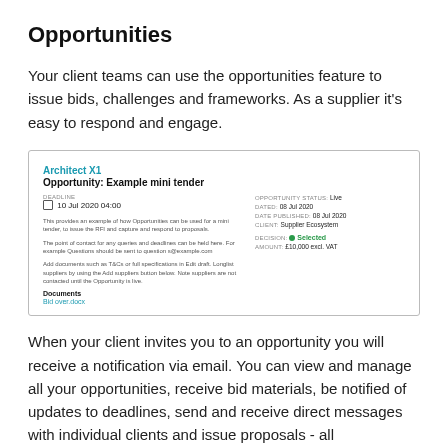Opportunities
Your client teams can use the opportunities feature to issue bids, challenges and frameworks. As a supplier it's easy to respond and engage.
[Figure (screenshot): Screenshot of an opportunity listing showing 'Architect X1', 'Opportunity: Example mini tender', deadline of 10 Jul 2020 04:00, opportunity status Live, dated 08 Jul 2020, date published 08 Jul 2020, client Supplier Ecosystem, decision Selected, amount £10,000 excl. VAT, with documents section showing 'Bid over.docx' link.]
When your client invites you to an opportunity you will receive a notification via email. You can view and manage all your opportunities, receive bid materials, be notified of updates to deadlines, send and receive direct messages with individual clients and issue proposals - all